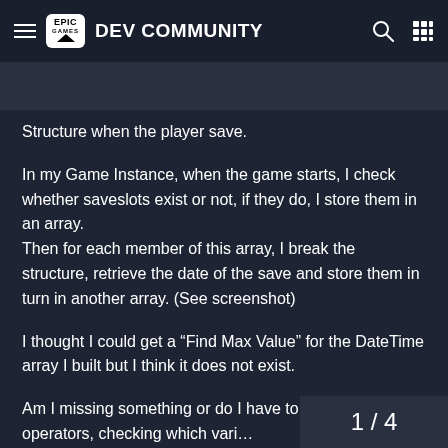EPIC GAMES DEV COMMUNITY
Structure when the player save.
In my Game Instance, when the game starts, I check whether saveslots exist or not, if they do, I store them in an array.
Then for each member of this array, I break the structure, retrieve the date of the save and store them in turn in another array. (See screenshot)
I thought I could get a “Find Max Value” for the DateTime array I built but I think it does not exist.
Am I missing something or do I have to do it myself with operators, checking which vari… is the highest ?
1 / 4